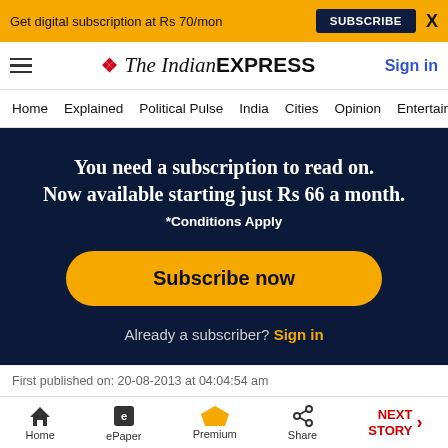Get digital subscription at Rs 70/mon
SUBSCRIBE
X
[Figure (logo): The Indian Express logo with red chevrons and bold text]
Sign in
Home  Explained  Political Pulse  India  Cities  Opinion  Entertainment
You need a subscription to read on. Now available starting just Rs 66 a month. *Conditions Apply
Subscribe now
Already a subscriber? Sign in
First published on: 20-08-2013 at 04:04:54 am
Home  ePaper  Premium  Share  NEXT STORY